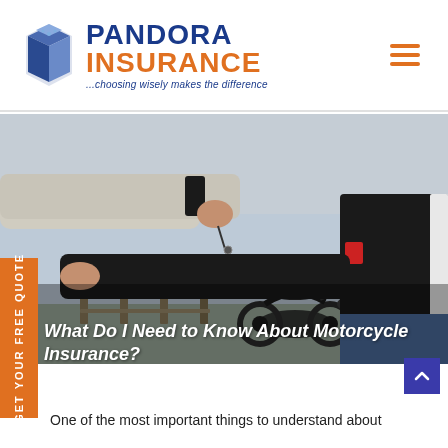[Figure (logo): Pandora Insurance logo: blue hexagonal box icon on the left, company name 'PANDORA INSURANCE' in blue and orange bold text, tagline '...choosing wisely makes the difference' in blue italic below]
[Figure (photo): A person in a white jacket handing motorcycle keys to another person in a black leather jacket, with a black sport motorcycle visible in the blurred background at an outdoor location near water]
What Do I Need to Know About Motorcycle Insurance?
One of the most important things to understand about